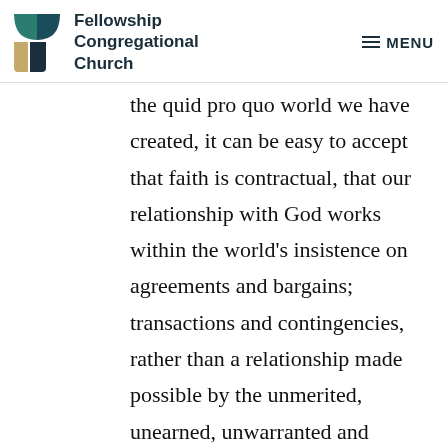Fellowship Congregational Church | MENU
the quid pro quo world we have created, it can be easy to accept that faith is contractual, that our relationship with God works within the world's insistence on agreements and bargains; transactions and contingencies, rather than a relationship made possible by the unmerited, unearned, unwarranted and undeserved love of God. This story calls out our tendency, our